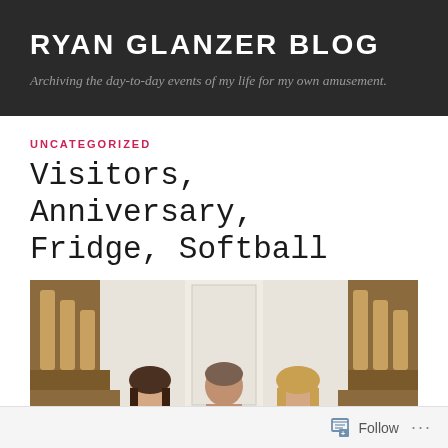RYAN GLANZER BLOG
Archiving the day-to-day events of my life for my own amusement.
UNCATEGORIZED
Visitors, Anniversary, Fridge, Softball
[Figure (photo): Three people sitting in wooden church pews inside a building with white walls and wooden banisters. A woman in a green/yellow top on the left, a man in a black shirt in the center, and a woman with long hair on the right.]
Follow ...